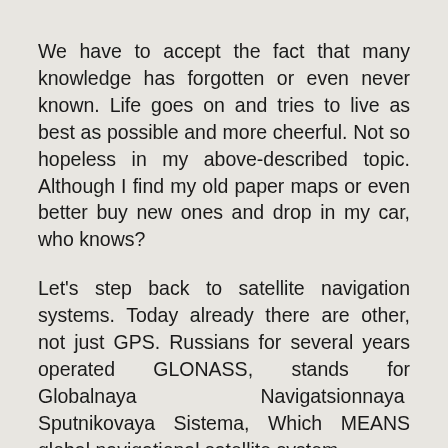We have to accept the fact that many knowledge has forgotten or even never known. Life goes on and tries to live as best as possible and more cheerful. Not so hopeless in my above-described topic. Although I find my old paper maps or even better buy new ones and drop in my car, who knows?
Let’s step back to satellite navigation systems. Today already there are other, not just GPS. Russians for several years operated GLONASS, stands for Globalnaya Navigatsionnaya Sputnikovaya Sistema, Which MEANS global navigational satellite system.
This time I do not wanna talk about the popularity and performance, but just want to say that many manufacturers in their satellite navigation receivers